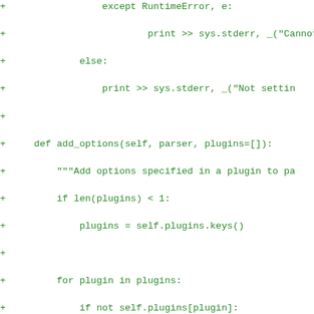[Figure (screenshot): Code diff showing Python source code additions (green lines with + prefix) including methods add_options and check_options with plugin handling logic including try/except RuntimeError blocks and hasattr checks.]